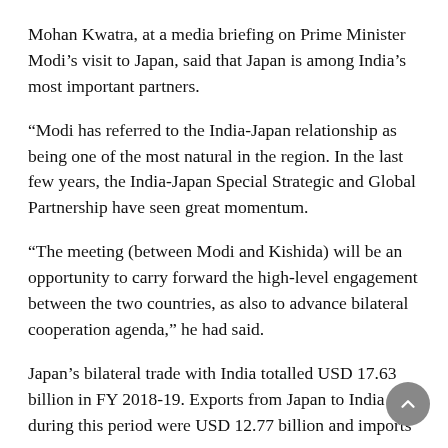Mohan Kwatra, at a media briefing on Prime Minister Modi's visit to Japan, said that Japan is among India's most important partners.
“Modi has referred to the India-Japan relationship as being one of the most natural in the region. In the last few years, the India-Japan Special Strategic and Global Partnership have seen great momentum.
"The meeting (between Modi and Kishida) will be an opportunity to carry forward the high-level engagement between the two countries, as also to advance bilateral cooperation agenda," he had said.
Japan’s bilateral trade with India totalled USD 17.63 billion in FY 2018-19. Exports from Japan to India during this period were USD 12.77 billion and imports were